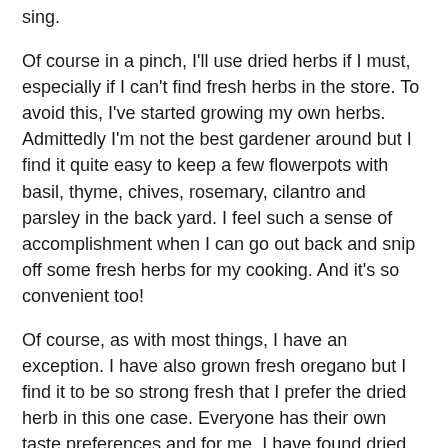sing.
Of course in a pinch, I'll use dried herbs if I must, especially if I can't find fresh herbs in the store. To avoid this, I've started growing my own herbs. Admittedly I'm not the best gardener around but I find it quite easy to keep a few flowerpots with basil, thyme, chives, rosemary, cilantro and parsley in the back yard. I feel such a sense of accomplishment when I can go out back and snip off some fresh herbs for my cooking. And it's so convenient too!
Of course, as with most things, I have an exception. I have also grown fresh oregano but I find it to be so strong fresh that I prefer the dried herb in this one case. Everyone has their own taste preferences and for me, I have found dried oregano works better.